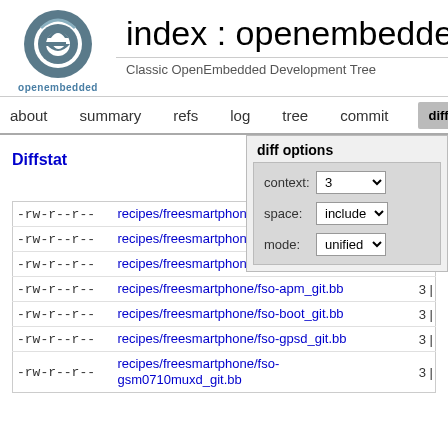index : openembedded
Classic OpenEmbedded Development Tree
about   summary   refs   log   tree   commit   diff   stat
Diffstat
diff options
context: 3
space: include
mode: unified
| perms | filename | count |
| --- | --- | --- |
| -rw-r--r-- | recipes/freesmartphone/dbus-hlid_git.bb | 3 | |
| -rw-r--r-- | recipes/freesmartphone/frameworkd_git.bb | 3 | |
| -rw-r--r-- | recipes/freesmartphone/fso-abyss_git.bb | 5 | |
| -rw-r--r-- | recipes/freesmartphone/fso-apm_git.bb | 3 | |
| -rw-r--r-- | recipes/freesmartphone/fso-boot_git.bb | 3 | |
| -rw-r--r-- | recipes/freesmartphone/fso-gpsd_git.bb | 3 | |
| -rw-r--r-- | recipes/freesmartphone/fso-gsm0710muxd_git.bb | 3 | |